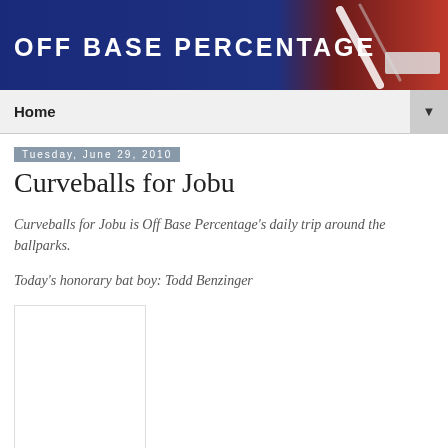[Figure (other): Off Base Percentage blog header banner with navy blue and red background, collegiate-style white text logo and baseball bat graphic]
Home
Tuesday, June 29, 2010
Curveballs for Jobu
Curveballs for Jobu is Off Base Percentage's daily trip around the ballparks.
Today's honorary bat boy: Todd Benzinger
[Figure (photo): Image placeholder (white rectangle with border)]